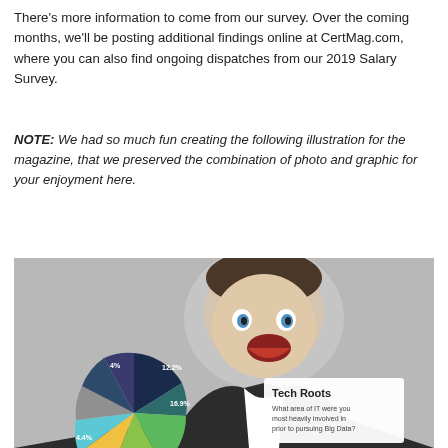There's more information to come from our survey. Over the coming months, we'll be posting additional findings online at CertMag.com, where you can also find ongoing dispatches from our 2019 Salary Survey.
NOTE: We had so much fun creating the following illustration for the magazine, that we preserved the combination of photo and graphic for your enjoyment here.
[Figure (infographic): A man in a suit with a surprised/excited expression appearing to eat or hold a pie chart. The pie chart is labeled 'Tech Roots' with the subtitle 'What area of IT were you most heavily involved in prior to pursuing Big Data?' Visible slice labels include 12.2%, 16.9%, 4%, 4.4%, 15.7%, and others. The pie chart has multiple colored slices (dark navy, teal/green, light green, yellow-green, orange, light blue, grey).]